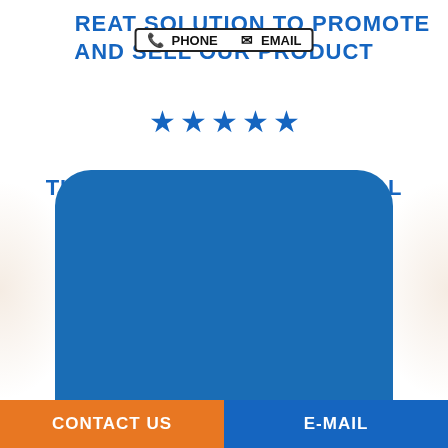GREAT SOLUTION TO PROMOTE AND SELL OUR PRODUCT
[Figure (infographic): Five blue star rating icons in a row]
THOROUGHLY PROFESSIONAL
[Figure (infographic): Five blue star rating icons in a row]
[Figure (illustration): Large blue rounded rectangle card at bottom of page with orange and blue shadow accents on sides]
CONTACT US | E-MAIL